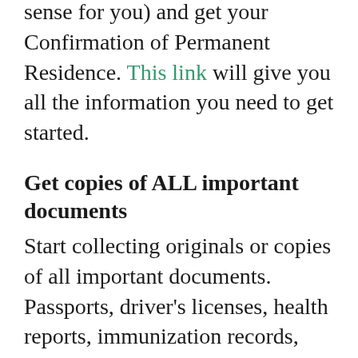sense for you) and get your Confirmation of Permanent Residence. This link will give you all the information you need to get started.
Get copies of ALL important documents
Start collecting originals or copies of all important documents. Passports, driver's licenses, health reports, immunization records, certificates and diplomas from schools and professional organizations, birth, marriage, and divorce certificates may all be required down the road. Start pulling this information together. Take photos and make digital copies too so that if anything is lost, you have an easier time replacing these pieces. Get as much of